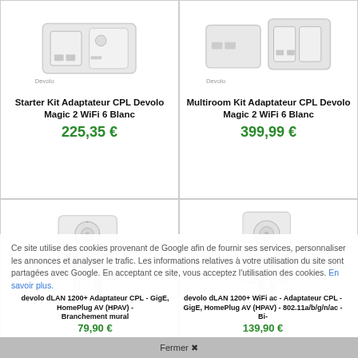[Figure (photo): Starter Kit Adaptateur CPL Devolo Magic 2 WiFi 6 Blanc product photo]
Starter Kit Adaptateur CPL Devolo Magic 2 WiFi 6 Blanc
225,35 €
[Figure (photo): Multiroom Kit Adaptateur CPL Devolo Magic 2 WiFi 6 Blanc product photo]
Multiroom Kit Adaptateur CPL Devolo Magic 2 WiFi 6 Blanc
399,99 €
[Figure (photo): devolo dLAN 1200+ Adaptateur CPL - GigE, HomePlug AV (HPAV) - Branchement mural product photo]
[Figure (photo): devolo dLAN 1200+ WiFi ac - Adaptateur CPL - GigE, HomePlug AV (HPAV) - 802.11a/b/g/n/ac - Bi- product photo]
Ce site utilise des cookies provenant de Google afin de fournir ses services, personnaliser les annonces et analyser le trafic. Les informations relatives à votre utilisation du site sont partagées avec Google. En acceptant ce site, vous acceptez l'utilisation des cookies. En savoir plus.
devolo dLAN 1200+ Adaptateur CPL - GigE, HomePlug AV (HPAV) - Branchement mural
79,90 €
devolo dLAN 1200+ WiFi ac - Adaptateur CPL - GigE, HomePlug AV (HPAV) - 802.11a/b/g/n/ac - Bi-
139,90 €
Fermer ✖